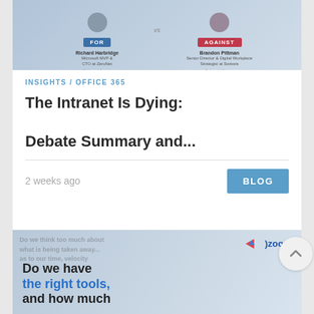[Figure (illustration): Debate card image showing 'FOR vs AGAINST' with two people: Richard Harbridge (Microsoft MVP & CTO at ZeroNet) on the FOR side and Brandon Pittman (Senior Director & Digital Workplace Strategist at Swissre) on the AGAINST side]
INSIGHTS / OFFICE 365
The Intranet Is Dying: Debate Summary and...
2 weeks ago
BLOG
[Figure (screenshot): Second article card with text 'Do we have the right tools, and how much' with zoom logo and blue accent text, watermark background text visible]
[Figure (illustration): Scroll to top button - circular button with upward arrow]